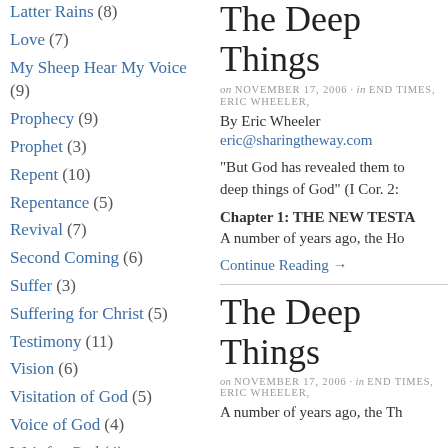Latter Rains (8)
Love (7)
My Sheep Hear My Voice (9)
Prophecy (9)
Prophet (3)
Repent (10)
Repentance (5)
Revival (7)
Second Coming (6)
Suffer (3)
Suffering for Christ (5)
Testimony (11)
Vision (6)
Visitation of God (5)
Voice of God (4)
Wait for God (4)
Wait on God (6)
The Deep Things
on NOVEMBER 17, 2006 · in END TIMES, ERIC WHEELER,
By Eric Wheeler
eric@sharingtheway.com
“But God has revealed them to deep things of God” (I Cor. 2:
Chapter 1: THE NEW TESTA A number of years ago, the Ho
Continue Reading →
The Deep Things
on NOVEMBER 17, 2006 · in END TIMES, ERIC WHEELER,
A number of years ago, the Th